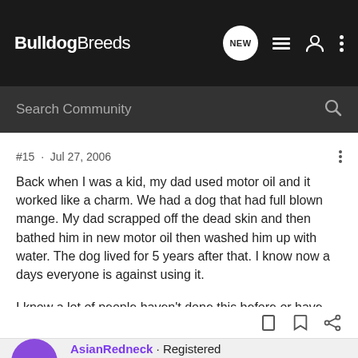BulldogBreeds
Search Community
#15 · Jul 27, 2006
Back when I was a kid, my dad used motor oil and it worked like a charm. We had a dog that had full blown mange. My dad scrapped off the dead skin and then bathed him in new motor oil then washed him up with water. The dog lived for 5 years after that. I know now a days everyone is against using it.
I know a lot of people haven't done this before or have done this primative type of treatments, but it worked for our dogs back then.
AsianRedneck · Registered